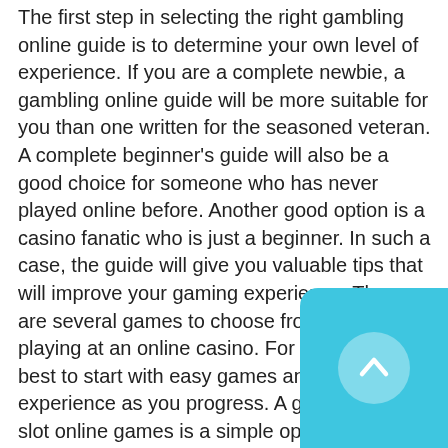The first step in selecting the right gambling online guide is to determine your own level of experience. If you are a complete newbie, a gambling online guide will be more suitable for you than one written for the seasoned veteran. A complete beginner's guide will also be a good choice for someone who has never played online before. Another good option is a casino fanatic who is just a beginner. In such a case, the guide will give you valuable tips that will improve your gaming experience. There are several games to choose from when playing at an online casino. For beginners, it is best to start with easy games and build your experience as you progress. A good choice for slot online games is a simple option for newcomers. Slots don't require much skill and are easy to play. The odds of each game differ, so you should research the games to decide what to bet on and what level of risk you're willing to take. You can also find a tutorial for each of the different
[Figure (other): A cyan/light-blue rounded UI button in the bottom-right corner containing a white circle with an upward-pointing chevron arrow icon.]